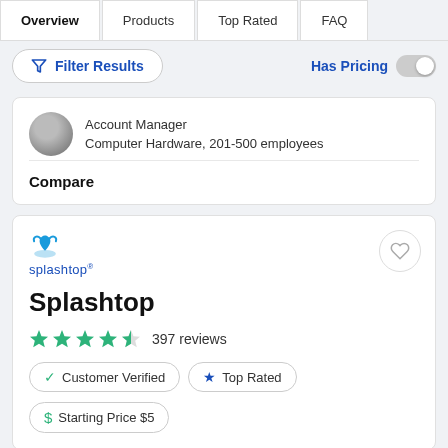Overview | Products | Top Rated | FAQ
Filter Results | Has Pricing
Account Manager
Computer Hardware, 201-500 employees
Compare
[Figure (logo): Splashtop logo with splash icon and brand name]
Splashtop
4.5 stars — 397 reviews
Customer Verified | Top Rated
Starting Price $5